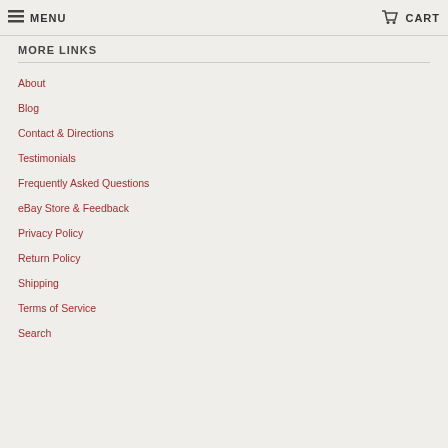MENU  CART
MORE LINKS
About
Blog
Contact & Directions
Testimonials
Frequently Asked Questions
eBay Store & Feedback
Privacy Policy
Return Policy
Shipping
Terms of Service
Search